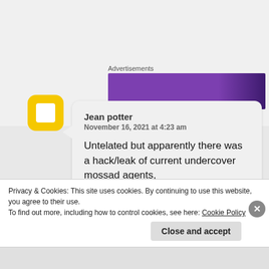Advertisements
[Figure (screenshot): Purple advertisement banner with dark purple section on the right]
[Figure (logo): Yellow square donut / Chase bank logo icon]
Jean potter
November 16, 2021 at 4:23 am

Untelated but apparently there was a hack/leak of current undercover mossad agents,

https://t.me/s/justice_palestine?
Privacy & Cookies: This site uses cookies. By continuing to use this website, you agree to their use.
To find out more, including how to control cookies, see here: Cookie Policy

Close and accept